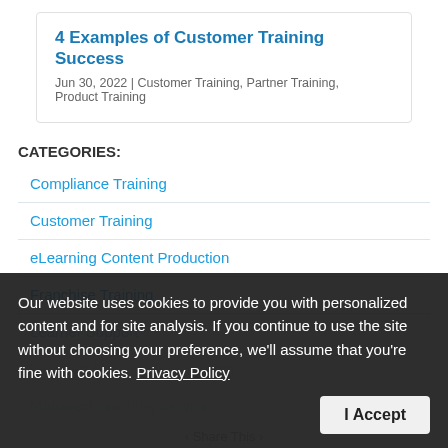4 Examples of Customer Training Success
Jun 30, 2022 | Customer Training, Partner Training, Product Training
CATEGORIES:
Compliance Training
Customer Training
eLearning Content Production
Franchise Training
Learner Support
Learning Management System
Managed Learning Services
Our website uses cookies to provide you with personalized content and for site analysis. If you continue to use the site without choosing your preference, we'll assume that you're fine with cookies. Privacy Policy
I Accept